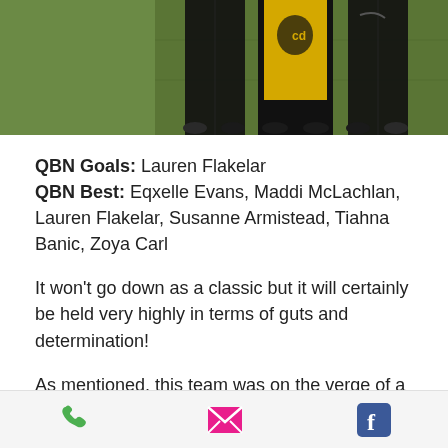[Figure (photo): Partial photo of football players in black and yellow/gold uniforms standing on grass field, cropped showing only legs and shorts]
QBN Goals: Lauren Flakelar
QBN Best: Eqxelle Evans, Maddi McLachlan, Lauren Flakelar, Susanne Armistead, Tiahna Banic, Zoya Carl
It won't go down as a classic but it will certainly be held very highly in terms of guts and determination!
As mentioned, this team was on the verge of a forfeit but to get up and play and then to top it off and win was an awesome effort. It was a tough game as the score suggests
[Figure (infographic): Mobile app footer bar with three icons: green phone icon, pink/magenta email envelope icon, and blue Facebook icon]